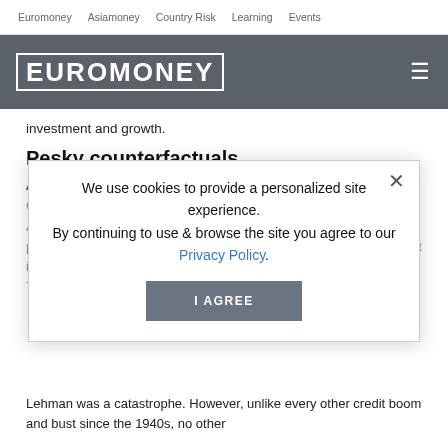Euromoney   Asiamoney   Country Risk   Learning   Events
[Figure (logo): Euromoney logo with hamburger menu on dark grey header bar]
investment and growth.
Pesky counterfactuals
At almost any point from when the US Federal Reserve announced QE1 in November 2008 until now, that seemed no more than theory. Asset prices reached their lowest ebb in March 2009, while all other promises looked hollow. The rich have done well. It is no wonder that inequality has become a central political theme around the world. This may be QEs most enduring legacy.
We use cookies to provide a personalized site experience.
By continuing to use & browse the site you agree to our Privacy Policy.
I AGREE
Lehman was a catastrophe. However, unlike every other credit boom and bust since the 1940s, no other